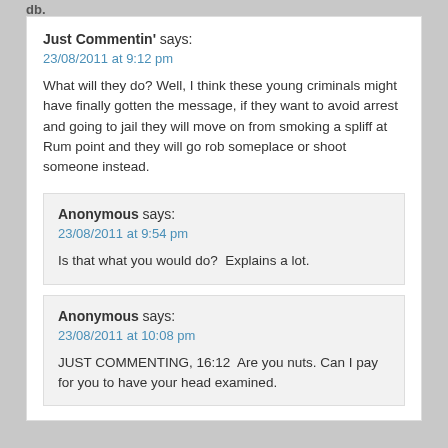db.
Just Commentin' says:
23/08/2011 at 9:12 pm
What will they do? Well, I think these young criminals might have finally gotten the message, if they want to avoid arrest and going to jail they will move on from smoking a spliff at Rum point and they will go rob someplace or shoot someone instead.
Anonymous says:
23/08/2011 at 9:54 pm
Is that what you would do?  Explains a lot.
Anonymous says:
23/08/2011 at 10:08 pm
JUST COMMENTING, 16:12  Are you nuts. Can I pay for you to have your head examined.